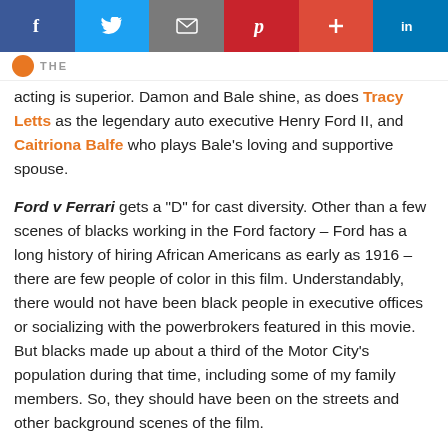[Figure (screenshot): Social media sharing bar with Facebook, Twitter, Email, Pinterest, Google+, and LinkedIn buttons]
acting is superior. Damon and Bale shine, as does Tracy Letts as the legendary auto executive Henry Ford II, and Caitriona Balfe who plays Bale's loving and supportive spouse.
Ford v Ferrari gets a “D” for cast diversity. Other than a few scenes of blacks working in the Ford factory – Ford has a long history of hiring African Americans as early as 1916 – there are few people of color in this film. Understandably, there would not have been black people in executive offices or socializing with the powerbrokers featured in this movie. But blacks made up about a third of the Motor City’s population during that time, including some of my family members. So, they should have been on the streets and other background scenes of the film.
Ultimately, Ford v Ferrari has some historical value and